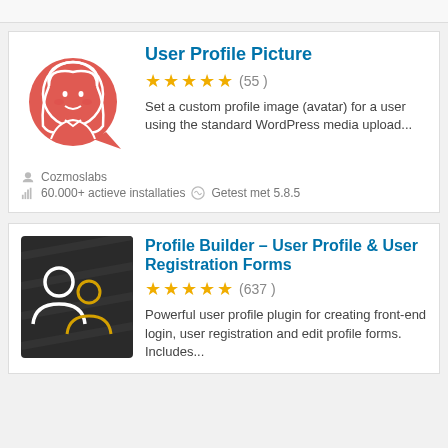[Figure (screenshot): WordPress plugin card for User Profile Picture with coral/red illustration of a woman with white hair]
User Profile Picture
★★★★½ (55)
Set a custom profile image (avatar) for a user using the standard WordPress media upload...
Cozmoslabs
60.000+ actieve installaties   Getest met 5.8.5
[Figure (screenshot): WordPress plugin card for Profile Builder showing dark background with white and gold user icons]
Profile Builder – User Profile & User Registration Forms
★★★★½ (637)
Powerful user profile plugin for creating front-end login, user registration and edit profile forms. Includes...